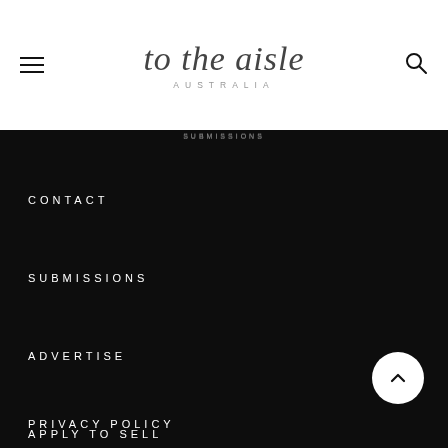to the aisle AUSTRALIA
CONTACT
SUBMISSIONS
ADVERTISE
APPLY TO SELL
PRIVACY POLICY